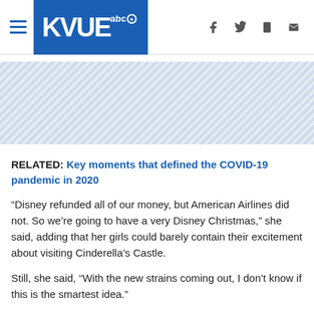KVUE abc
[Figure (other): Ad banner placeholder with diagonal hatching pattern]
RELATED: Key moments that defined the COVID-19 pandemic in 2020
“Disney refunded all of our money, but American Airlines did not. So we’re going to have a very Disney Christmas,” she said, adding that her girls could barely contain their excitement about visiting Cinderella’s Castle.
Still, she said, “With the new strains coming out, I don’t know if this is the smartest idea.”
Derson Lindsey, a 48-year-old doctor, was on a lawyer in